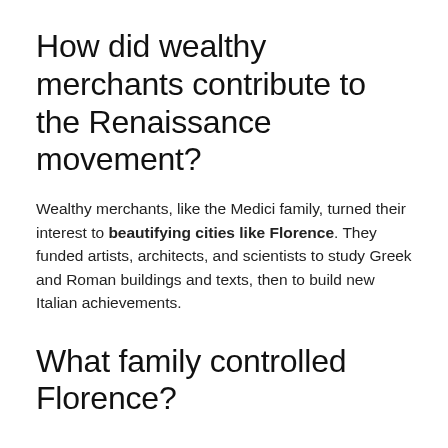How did wealthy merchants contribute to the Renaissance movement?
Wealthy merchants, like the Medici family, turned their interest to beautifying cities like Florence. They funded artists, architects, and scientists to study Greek and Roman buildings and texts, then to build new Italian achievements.
What family controlled Florence?
The Medici family, also known as the House of Medici, first attained wealth and political power in Florence in the